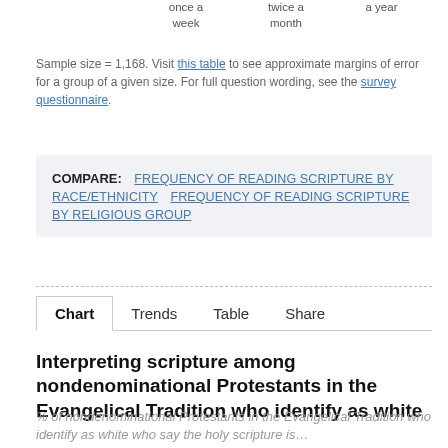once a week   twice a month   a year
Sample size = 1,168. Visit this table to see approximate margins of error for a group of a given size. For full question wording, see the survey questionnaire.
COMPARE:  FREQUENCY OF READING SCRIPTURE BY RACE/ETHNICITY   FREQUENCY OF READING SCRIPTURE BY RELIGIOUS GROUP
Chart   Trends   Table   Share
Interpreting scripture among nondenominational Protestants in the Evangelical Tradition who identify as white
% of nondenominational Protestants in the Evangelical Tradition who identify as white who say the holy scripture is…